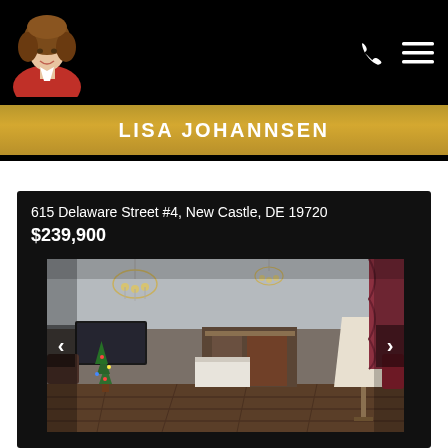[Figure (photo): Real estate agent headshot photo on black header background with phone and menu icons]
LISA JOHANNSEN
615 Delaware Street #4, New Castle, DE 19720
$239,900
[Figure (photo): Interior photo of a living room/kitchen area with chandeliers, TV, Christmas tree, and furniture]